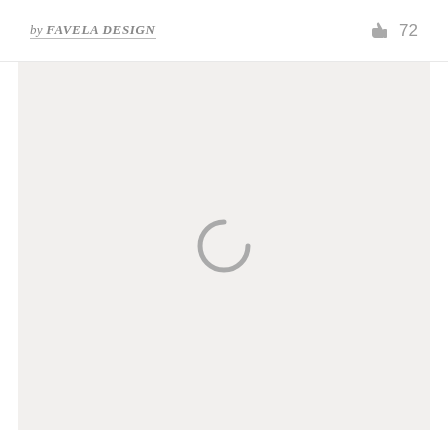by FAVELA DESIGN  👍 72
[Figure (other): Large light gray content area with a loading spinner icon (partial circle, open at top-left) centered in the middle of the area]